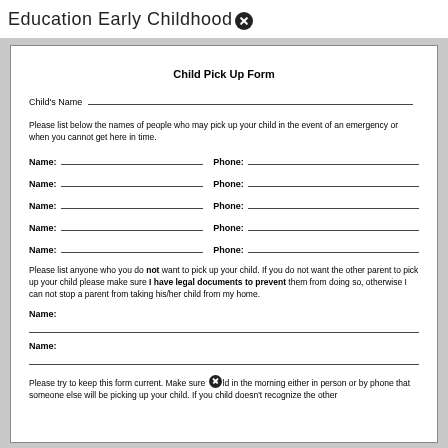Education Early Childhood
Child Pick Up Form
Child's Name
Please list below the names of people who may pick up your child in the event of an emergency or when you cannot get here in time.
Name: __________ Phone: __________
Name: __________ Phone: __________
Name: __________ Phone: __________
Name: __________ Phone: __________
Name: __________ Phone: __________
Please list anyone who you do not want to pick up your child. If you do not want the other parent to pick up your child please make sure I have legal documents to prevent them from doing so, otherwise I can not stop a parent from taking his/her child from my home.
Name:
Name:
Please try to keep this form current. Make sure [icon] ld in the morning either in person or by phone that someone else will be picking up your child. If you child doesn't recognize the other